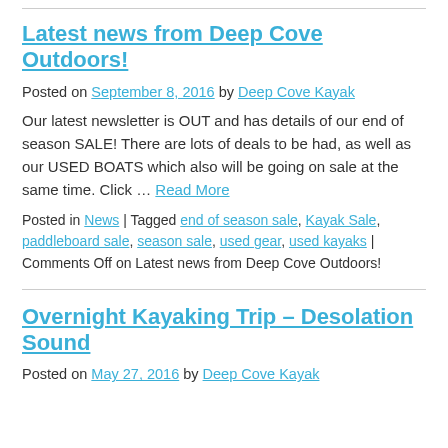Latest news from Deep Cove Outdoors!
Posted on September 8, 2016 by Deep Cove Kayak
Our latest newsletter is OUT and has details of our end of season SALE! There are lots of deals to be had, as well as our USED BOATS which also will be going on sale at the same time. Click … Read More
Posted in News | Tagged end of season sale, Kayak Sale, paddleboard sale, season sale, used gear, used kayaks | Comments Off on Latest news from Deep Cove Outdoors!
Overnight Kayaking Trip – Desolation Sound
Posted on May 27, 2016 by Deep Cove Kayak